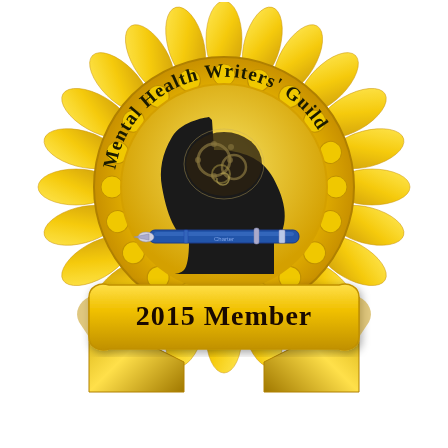[Figure (illustration): A gold rosette award badge for the Mental Health Writers' Guild 2015 Member. The badge features a large circular gold rosette with scalloped edges and radiating pleated ribbon petals around the perimeter. In the center is a yellow/gold circular medallion with a scalloped border containing curved text 'Mental Health Writers' Guild' around the top arc. Inside the medallion is a black silhouette of a human head in profile facing right, with an X-ray style view of gears and clockwork mechanisms visible inside the brain area. Below the silhouette is a blue fountain pen. Beneath the main rosette badge hangs a gold ribbon banner with the text '2015 Member' in dark serif font, and two gold ribbon tails hang below the banner forming a V-shape.]